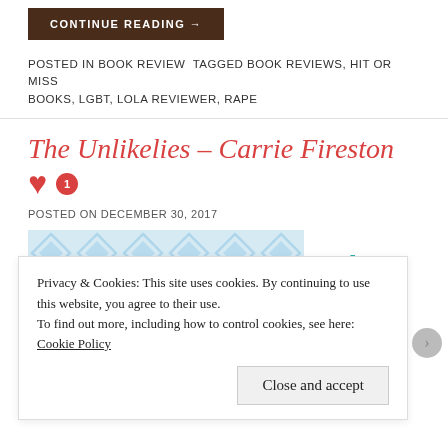CONTINUE READING →
POSTED IN BOOK REVIEW TAGGED BOOK REVIEWS, HIT OR MISS BOOKS, LGBT, LOLA REVIEWER, RAPE
The Unlikelies – Carrie Firestone
POSTED ON DECEMBER 30, 2017
[Figure (illustration): Book cover with chevron light blue pattern and cursive 'The' text overlay, next to teal 'The' text]
Privacy & Cookies: This site uses cookies. By continuing to use this website, you agree to their use. To find out more, including how to control cookies, see here: Cookie Policy
Close and accept